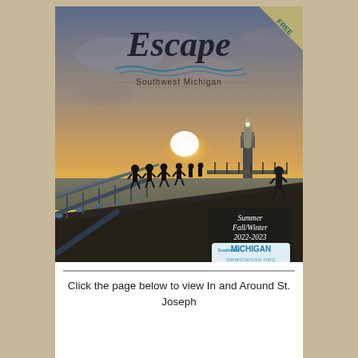[Figure (photo): Cover of 'Escape Southwest Michigan' magazine showing a sunset over a lighthouse pier with silhouettes of people walking on a boardwalk. The cover includes the magazine title 'Escape Southwest Michigan' at the top, a 'FREE' banner in the top right corner, and text reading 'Summer Fall/Winter 2022-2023' with a Southwest Michigan SWMICHIGAN.ORG logo badge in the bottom right.]
Click the page below to view In and Around St. Joseph